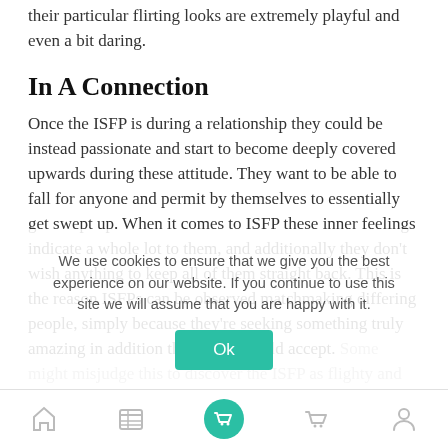their particular flirting looks are extremely playful and even a bit daring.
In A Connection
Once the ISFP is during a relationship they could be instead passionate and start to become deeply covered upwards during these attitude. They want to be able to fall for anyone and permit by themselves to essentially get swept up. When it comes to ISFP these inner feelings indicate a whole lot to them, and additionally they don't wish anything to keep all of them straight back. This is the reason ISFPs can be observed matchmaking differing people, simply because they're seeking something truly amazing in addition they don't should accept. Some might misjudge this to discover the ISFP as flighty and disloyal, but that isn't the facts anyway. For any ISFP it is as much as the emotional bond obtained inside
We use cookies to ensure that we give you the best experience on our website. If you continue to use this site we will assume that you are happy with it.